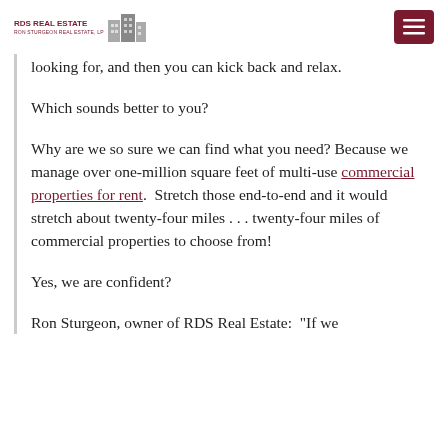RDS REAL ESTATE | RON STURGEON REAL ESTATE, LP
looking for, and then you can kick back and relax.
Which sounds better to you?
Why are we so sure we can find what you need? Because we manage over one-million square feet of multi-use commercial properties for rent.  Stretch those end-to-end and it would stretch about twenty-four miles . . . twenty-four miles of commercial properties to choose from!
Yes, we are confident?
Ron Sturgeon, owner of RDS Real Estate:  "If we